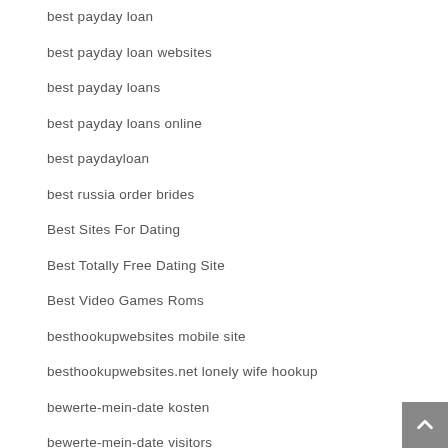best payday loan
best payday loan websites
best payday loans
best payday loans online
best paydayloan
best russia order brides
Best Sites For Dating
Best Totally Free Dating Site
Best Video Games Roms
besthookupwebsites mobile site
besthookupwebsites.net lonely wife hookup
bewerte-mein-date kosten
bewerte-mein-date visitors
bgclive italia
BHM Dating services